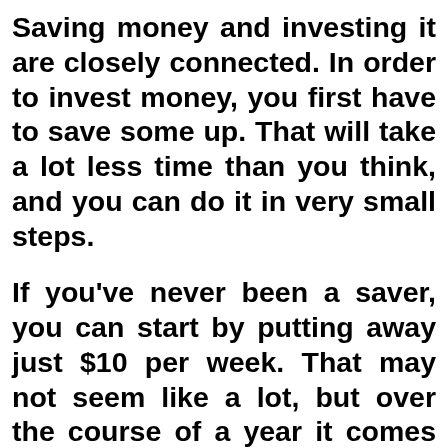Saving money and investing it are closely connected. In order to invest money, you first have to save some up. That will take a lot less time than you think, and you can do it in very small steps.
If you've never been a saver, you can start by putting away just $10 per week. That may not seem like a lot, but over the course of a year it comes to over $500.
Try putting $10 into an envelope...